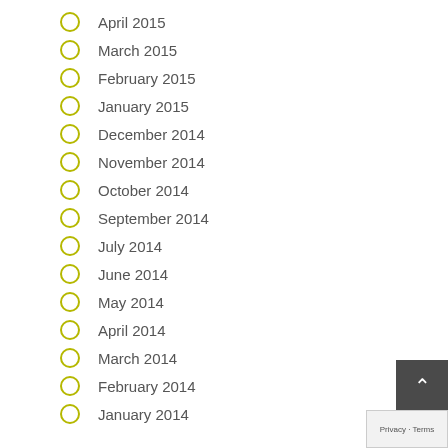April 2015
March 2015
February 2015
January 2015
December 2014
November 2014
October 2014
September 2014
July 2014
June 2014
May 2014
April 2014
March 2014
February 2014
January 2014